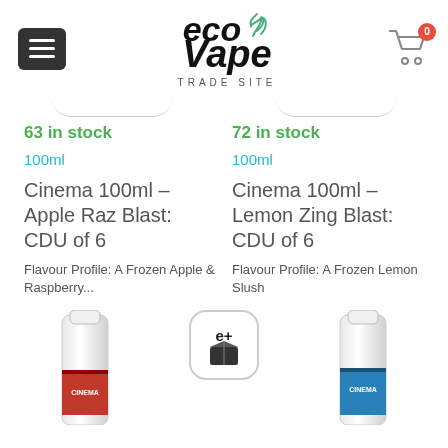[Figure (logo): Eco Vape Trade Site logo with leaf icon]
63 in stock
72 in stock
100ml
100ml
Cinema 100ml – Apple Raz Blast: CDU of 6
Cinema 100ml – Lemon Zing Blast: CDU of 6
Flavour Profile: A Frozen Apple & Raspberry...
Flavour Profile: A Frozen Lemon Slush
[Figure (photo): Bottom portion of a Cinema vape juice bottle with red label]
[Figure (logo): e+ box logo icon]
[Figure (photo): Bottom portion of a Cinema vape juice bottle with blue label]